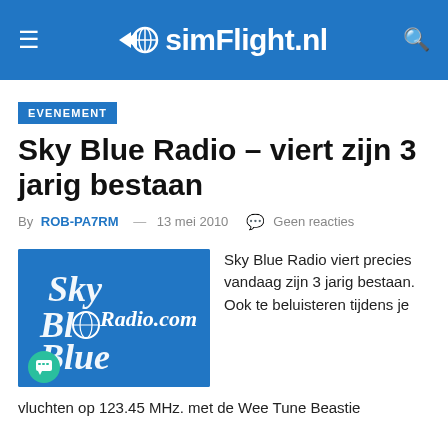simFlight.nl
EVENEMENT
Sky Blue Radio – viert zijn 3 jarig bestaan
By ROB-PA7RM — 13 mei 2010  Geen reacties
[Figure (logo): Sky Blue Radio.com logo on blue background with stylized script lettering]
Sky Blue Radio viert precies vandaag zijn 3 jarig bestaan. Ook te beluisteren tijdens je vluchten op 123.45 MHz. met de Wee Tune Beastie